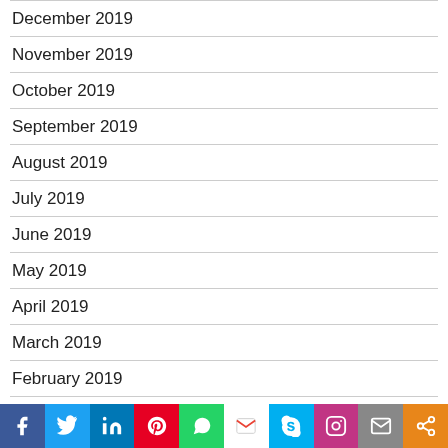December 2019
November 2019
October 2019
September 2019
August 2019
July 2019
June 2019
May 2019
April 2019
March 2019
February 2019
January 2019
[Figure (infographic): Social media sharing bar with icons for Facebook, Twitter, LinkedIn, Pinterest, WhatsApp, Gmail, Skype, Instagram, Email, and Share]